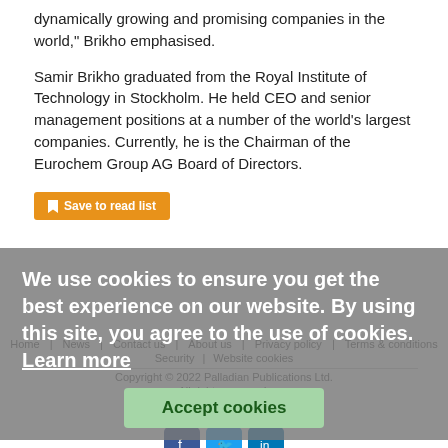dynamically growing and promising companies in the world," Brikho emphasised.
Samir Brikho graduated from the Royal Institute of Technology in Stockholm. He held CEO and senior management positions at a number of the world's largest companies. Currently, he is the Chairman of the Eurochem Group AG Board of Directors.
Save to read list
Home · News · Contact us · About us · Privacy policy · Terms & conditions · Security · Website cookies
Copyright © 2022 Palladian Publications Ltd. All rights reserved.
Tel: +44 (0)1252 718 999
Email: enquiries@worldcoal.com
We use cookies to ensure you get the best experience on our website. By using this site, you agree to the use of cookies. Learn more
Accept cookies